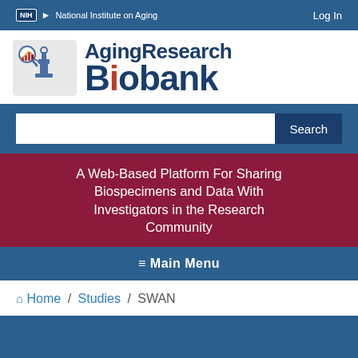NIH National Institute on Aging   Log In
[Figure (logo): AgingResearch Biobank logo with microscope and bar chart icon]
Search
A Web-Based Platform For Sharing Biospecimens and Data With Investigators in the Research Community
≡ Main Menu
Home / Studies / SWAN